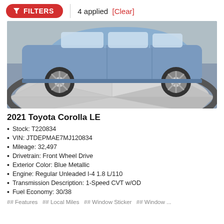FILTERS | 4 applied [Clear]
[Figure (photo): Side view of a blue 2021 Toyota Corolla LE on a circular display turntable in a showroom]
2021 Toyota Corolla LE
Stock: T220834
VIN: JTDEPMAE7MJ120834
Mileage: 32,497
Drivetrain: Front Wheel Drive
Exterior Color: Blue Metallic
Engine: Regular Unleaded I-4 1.8 L/110
Transmission Description: 1-Speed CVT w/OD
Fuel Economy: 30/38
## Features  ## Local Miles  ## Window Sticker  ##...